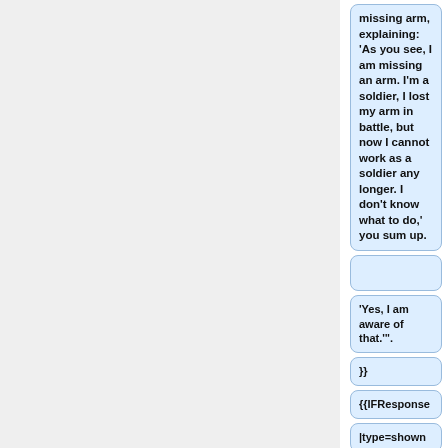missing arm, explaining: 'As you see, I am missing an arm. I'm a soldier, I lost my arm in battle, but now I cannot work as a soldier any longer. I don't know what to do,' you sum up.
'Yes, I am aware of that.'"
}}
{{IFResponse
|type=shown
|condition=missing arm
|response=say "